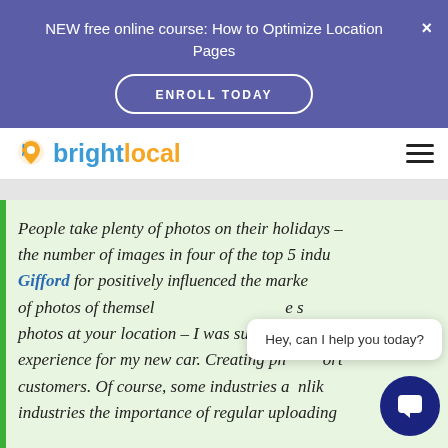NEW free online course: How to Optimize Location Pages
ENROLL TODAY
[Figure (logo): BrightLocal logo with location pin icon]
People take plenty of photos on their holidays – the number of images in four of the top 5 industries. Gifford for positively influences the market of photos of themselves at your location – I was surprised when my experience for my new car. Creating photos worth customers. Of course, some industries are unlike industries the importance of regular uploading